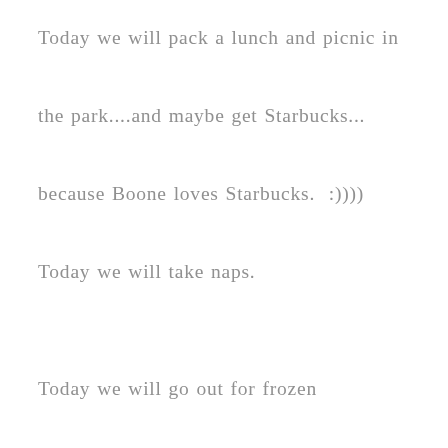Today we will pack a lunch and picnic in the park....and maybe get Starbucks...because Boone loves Starbucks.  :)))) Today we will take naps.

Today we will go out for frozen yogurt.....and let the birthday boy actually eat some this time. Today we will thank God for giving us the gift of Boone's life and we will pray for his